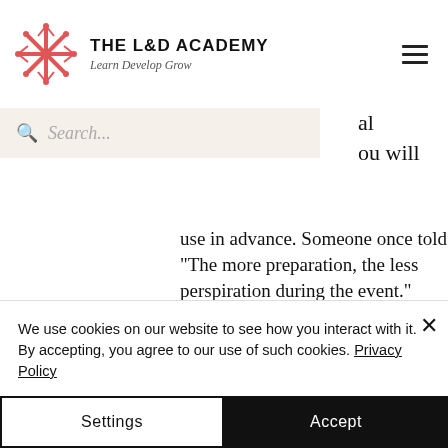THE L&D ACADEMY — Learn Develop Grow
Search...
use in advance. Someone once told me: "The more preparation, the less perspiration during the event."
However, remember that doesn't mean memorizing and reciting your lines. Think of those training sessions you attended that struck a chord the most.
We use cookies on our website to see how you interact with it. By accepting, you agree to our use of such cookies. Privacy Policy